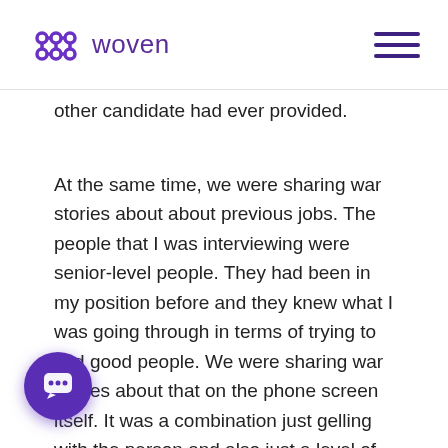woven
other candidate had ever provided.
At the same time, we were sharing war stories about about previous jobs. The people that I was interviewing were senior-level people. They had been in my position before and they knew what I was going through in terms of trying to find good people. We were sharing war stories about that on the phone screen itself. It was a combination just gelling with the person and also just a level of